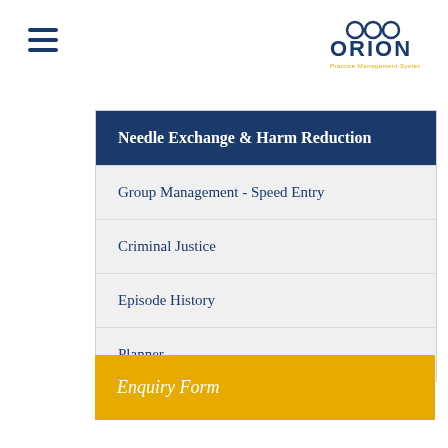[Figure (logo): Orion Practice Management Systems logo with three circles above the word ORION in dark blue and subtitle in gold]
Needle Exchange & Harm Reduction
Group Management - Speed Entry
Criminal Justice
Episode History
Planner
Enquiry Form